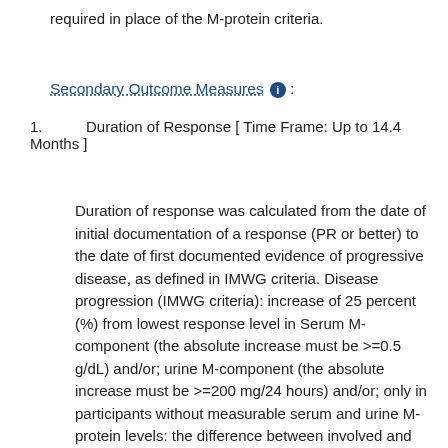required in place of the M-protein criteria.
Secondary Outcome Measures :
Duration of Response [ Time Frame: Up to 14.4 Months ]
Duration of response was calculated from the date of initial documentation of a response (PR or better) to the date of first documented evidence of progressive disease, as defined in IMWG criteria. Disease progression (IMWG criteria): increase of 25 percent (%) from lowest response level in Serum M-component (the absolute increase must be >=0.5 g/dL) and/or; urine M-component (the absolute increase must be >=200 mg/24 hours) and/or; only in participants without measurable serum and urine M-protein levels: the difference between involved and uninvolved free light chain levels (absolute increase must be >10 milligram